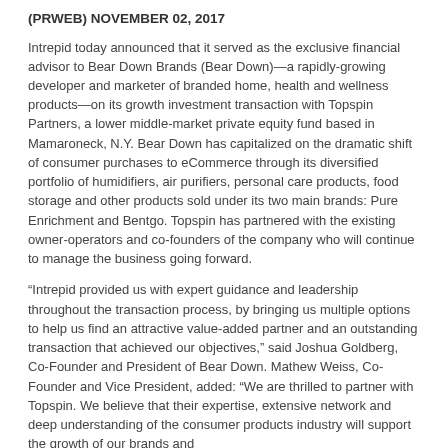(PRWEB) NOVEMBER 02, 2017
Intrepid today announced that it served as the exclusive financial advisor to Bear Down Brands (Bear Down)—a rapidly-growing developer and marketer of branded home, health and wellness products—on its growth investment transaction with Topspin Partners, a lower middle-market private equity fund based in Mamaroneck, N.Y. Bear Down has capitalized on the dramatic shift of consumer purchases to eCommerce through its diversified portfolio of humidifiers, air purifiers, personal care products, food storage and other products sold under its two main brands: Pure Enrichment and Bentgo. Topspin has partnered with the existing owner-operators and co-founders of the company who will continue to manage the business going forward.
“Intrepid provided us with expert guidance and leadership throughout the transaction process, by bringing us multiple options to help us find an attractive value-added partner and an outstanding transaction that achieved our objectives,” said Joshua Goldberg, Co-Founder and President of Bear Down. Mathew Weiss, Co-Founder and Vice President, added: “We are thrilled to partner with Topspin. We believe that their expertise, extensive network and deep understanding of the consumer products industry will support the growth of our brands and